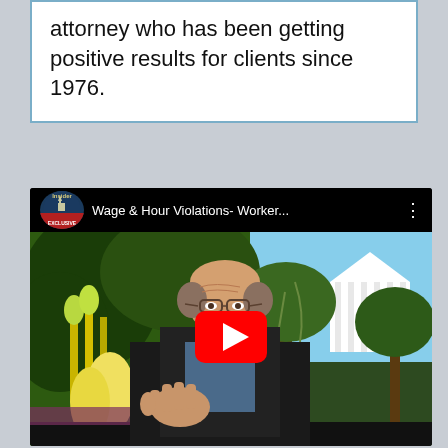attorney who has been getting positive results for clients since 1976.
[Figure (screenshot): YouTube video thumbnail showing a man speaking, with title 'Wage & Hour Violations- Worker...' and a red play button overlay. Channel badge shows 'Insider Exclusive' logo.]